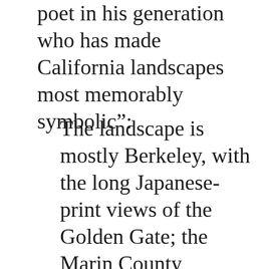poet in his generation who has made California landscapes most memorably symbolic":
The landscape is mostly Berkeley, with the long Japanese-print views of the Golden Gate; the Marin County uplands; an occasional glimpse of the Sierras. What it embodies is not majesty, as in Jeffers, or a transhuman alertness, as in Snyder, but a mellow clarity, a late-afternoon